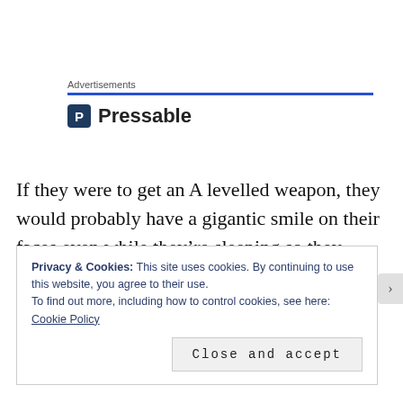[Figure (logo): Pressable logo with blue bar advertisement section]
If they were to get an A levelled weapon, they would probably have a gigantic smile on their faces even while they’re sleeping so they couldn’t understand why Cheng Zhi Chu would have such a grim expression.
Privacy & Cookies: This site uses cookies. By continuing to use this website, you agree to their use.
To find out more, including how to control cookies, see here: Cookie Policy
Close and accept